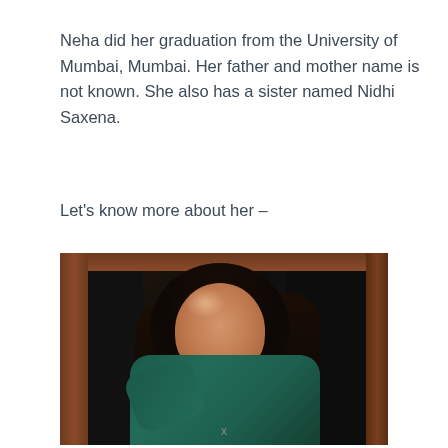Neha did her graduation from the University of Mumbai, Mumbai. Her father and mother name is not known. She also has a sister named Nidhi Saxena.
Let's know more about her –
[Figure (photo): Portrait photo of a young woman with long dark wavy hair, smiling, wearing a teal/dark green turtleneck sweater. She is posing with one hand raised near her head, against a dark background with wooden frame elements visible.]
x